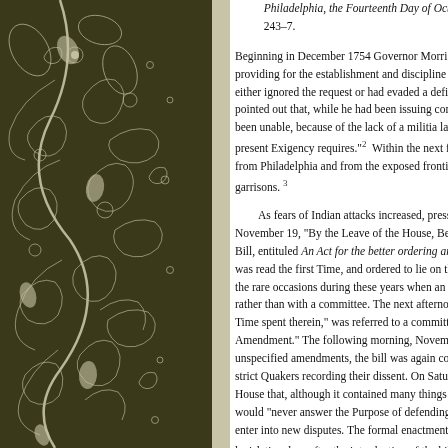[Figure (illustration): Dark olive/brown background with white floral and paisley decorative pattern, forming a vertical decorative border on the left side of the page.]
Philadelphia, the Fourteenth Day of Octob... 243–7.
Beginning in December 1754 Governor Morris ha... providing for the establishment and discipline of a... either ignored the request or had evaded a definit... pointed out that, while he had been issuing comm... been unable, because of the lack of a militia law,... present Exigency requires." 2 Within the next few... from Philadelphia and from the exposed frontiers,... garrisons. 3
As fears of Indian attacks increased, pressure... November 19, "By the Leave of the House, Benja... Bill, entituled An Act for the better ordering and re... was read the first Time, and ordered to lie on the... the rare occasions during these years when an im... rather than with a committee. The next afternoon... Time spent therein," was referred to a committee... Amendment." The following morning, November 2... unspecified amendments, the bill was again cons... strict Quakers recording their dissent. On Saturda... House that, although it contained many things "of... would "never answer the Purpose of defending th... enter into new disputes. The formal enactment to... legislative days after the introduction of the bill. 5
In view of the Assembly's long-standing refus...